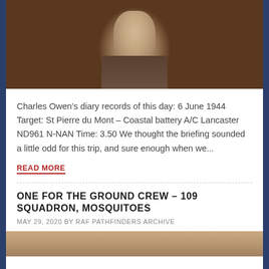[Figure (photo): Sepia-toned portrait photograph of a man in military uniform, cropped at top]
Charles Owen's diary records of this day: 6 June 1944 Target: St Pierre du Mont – Coastal battery A/C Lancaster ND961 N-NAN Time: 3.50 We thought the briefing sounded a little odd for this trip, and sure enough when we...
READ MORE
ONE FOR THE GROUND CREW – 109 SQUADRON, MOSQUITOES
MAY 29, 2020 BY RAF PATHFINDERS ARCHIVE
[Figure (photo): Partial sepia-toned photograph, bottom of page, showing ground crew scene]